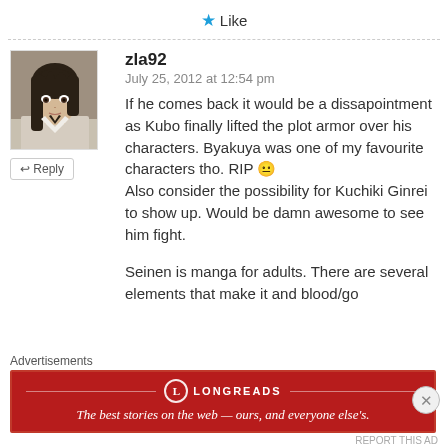★ Like
[Figure (illustration): Anime character avatar - dark haired figure illustration]
zla92
July 25, 2012 at 12:54 pm
If he comes back it would be a dissapointment as Kubo finally lifted the plot armor over his characters. Byakuya was one of my favourite characters tho. RIP 😐 Also consider the possibility for Kuchiki Ginrei to show up. Would be damn awesome to see him fight.
Seinen is manga for adults. There are several elements that make it and blood/go...
Advertisements
[Figure (screenshot): Longreads advertisement banner - red background with text: The best stories on the web — ours, and everyone else's.]